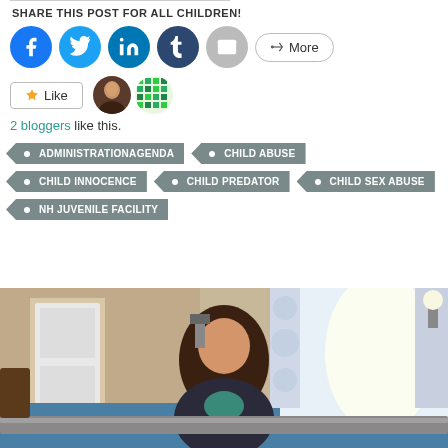SHARE THIS POST FOR ALL CHILDREN!
[Figure (infographic): Social share buttons: Facebook, Twitter, LinkedIn, Tumblr, Email, More]
[Figure (infographic): Like button with star icon, two blogger avatars]
2 bloggers like this.
ADMINISTRATIONAGENDA
CHILD ABUSE
CHILD INNOCENCE
CHILD PREDATOR
CHILD SEX ABUSE
NH JUVENILE FACILITY
[Figure (photo): A woman with long brown hair sits at a desk/table in a room with curtains and a door visible in the background. Blue trim on the lower walls.]